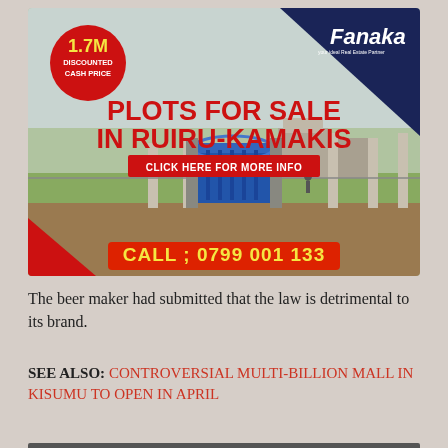[Figure (infographic): Real estate advertisement for Fanaka: Plots for sale in Ruiru-Kamakis. Shows a photo of a gated land plot with concrete pillars and partial construction. Red circle badge shows '1.7M Discounted Cash Price'. Dark navy triangle in top-right corner with 'Fanaka' logo in white italic. Text: PLOTS FOR SALE IN RUIRU-KAMAKIS. Red button: CLICK HERE FOR MORE INFO. Red bar at bottom: CALL ; 0799 001 133 in yellow text.]
The beer maker had submitted that the law is detrimental to its brand.
SEE ALSO: CONTROVERSIAL MULTI-BILLION MALL IN KISUMU TO OPEN IN APRIL